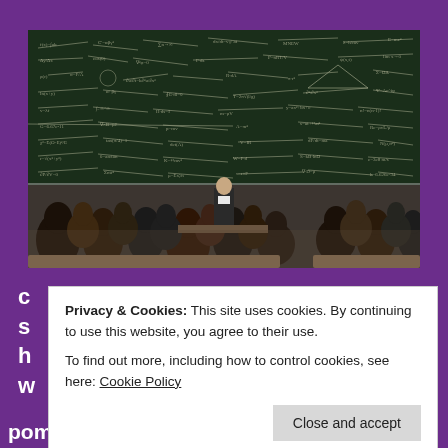[Figure (photo): A professor stands in front of a large blackboard covered in mathematical equations and diagrams, facing a full lecture hall of seated students viewed from the back.]
pompous professor is confronted with a
Privacy & Cookies: This site uses cookies. By continuing to use this website, you agree to their use.
To find out more, including how to control cookies, see here: Cookie Policy